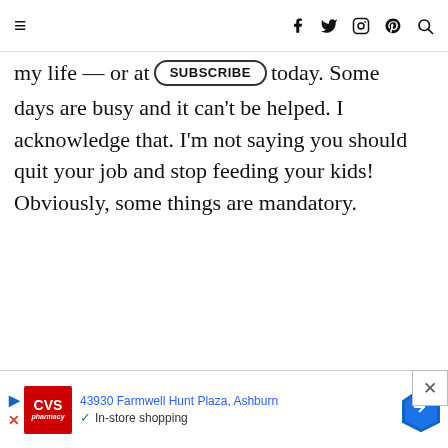Navigation header with hamburger menu and social icons (f, twitter, instagram, pinterest, search)
my life — or at [SUBSCRIBE] today. Some days are busy and it can't be helped. I acknowledge that. I'm not saying you should quit your job and stop feeding your kids! Obviously, some things are mandatory.
[Figure (infographic): Advertisement banner: CVS Pharmacy ad showing '43930 Farmwell Hunt Plaza, Ashburn' with in-store shopping information and a map direction icon. Navigation arrows and close button visible.]